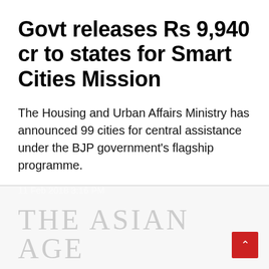Govt releases Rs 9,940 cr to states for Smart Cities Mission
The Housing and Urban Affairs Ministry has announced 99 cities for central assistance under the BJP government's flagship programme.
11 Feb 2018 3:16 PM
[Figure (logo): The Asian Age newspaper logo in light grey]